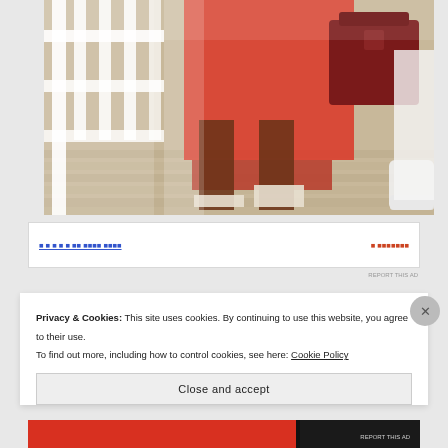[Figure (photo): Photo of a person wearing an orange/red midi skirt and white strappy heeled sandals, carrying a dark burgundy handbag, standing on a wooden deck with white railing. Another person in white jeans and white sneakers is partially visible on the right.]
[Figure (screenshot): Partial advertisement banner with blue underlined link text and red label text, partially obscured.]
REPORT THIS AD
Privacy & Cookies: This site uses cookies. By continuing to use this website, you agree to their use.
To find out more, including how to control cookies, see here: Cookie Policy
Close and accept
[Figure (screenshot): Bottom advertisement strips in red/orange and black colors, partially visible at the bottom of the page.]